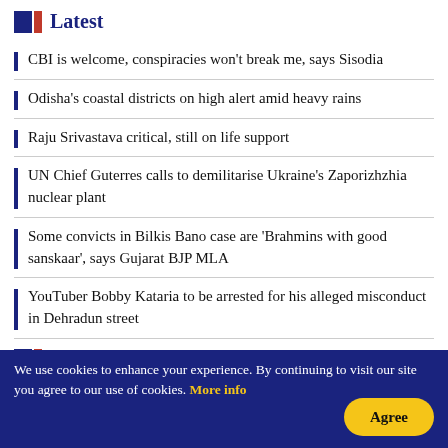Latest
CBI is welcome, conspiracies won't break me, says Sisodia
Odisha's coastal districts on high alert amid heavy rains
Raju Srivastava critical, still on life support
UN Chief Guterres calls to demilitarise Ukraine's Zaporizhzhia nuclear plant
Some convicts in Bilkis Bano case are 'Brahmins with good sanskaar', says Gujarat BJP MLA
YouTuber Bobby Kataria to be arrested for his alleged misconduct in Dehradun street
Trending
We use cookies to enhance your experience. By continuing to visit our site you agree to our use of cookies. More info